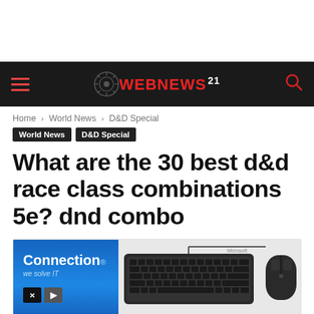WEBNEWS 21
Home › World News › D&D Special
World News
D&D Special
What are the 30 best d&d race class combinations 5e? dnd combo
[Figure (screenshot): Advertisement banner showing 'Connection we solve IT' on blue background on the left, and a Microsoft keyboard and mouse on grey background on the right, with media player icons at the bottom left.]